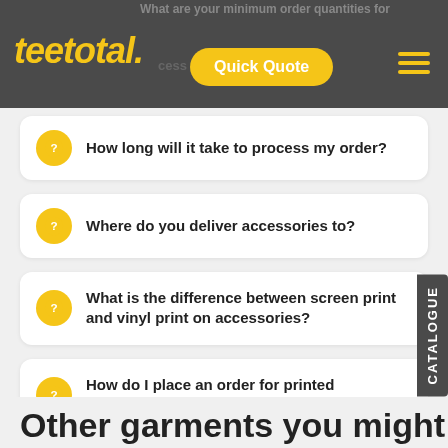teetotal. | Quick Quote
How long will it take to process my order?
Where do you deliver accessories to?
What is the difference between screen print and vinyl print on accessories?
How do I place an order for printed accessories?
Other garments you might be